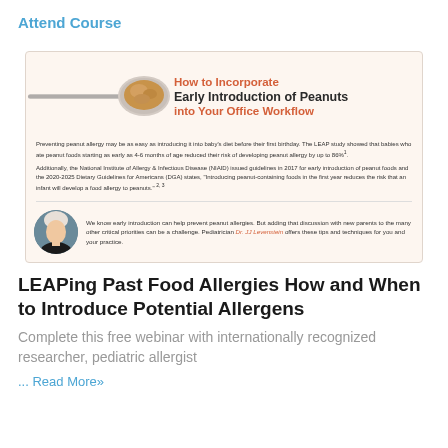Attend Course
[Figure (infographic): Infographic about early peanut introduction. Shows a spoon with peanut butter, title 'How to Incorporate Early Introduction of Peanuts into Your Office Workflow', body text about LEAP study and NIAID/DGA guidelines, and a photo of Dr. JJ Levenstein with a quote about adding early introduction discussion to office practice.]
LEAPing Past Food Allergies How and When to Introduce Potential Allergens
Complete this free webinar with internationally recognized researcher, pediatric allergist
... Read More»